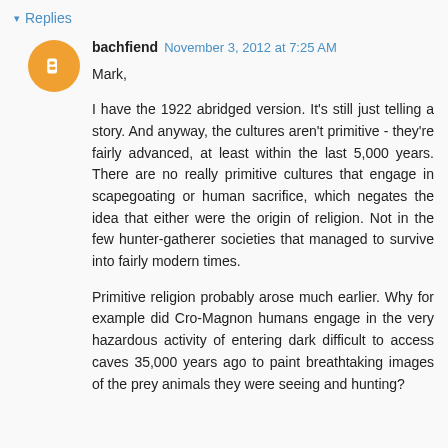▾ Replies
bachfiend  November 3, 2012 at 7:25 AM
Mark,

I have the 1922 abridged version. It's still just telling a story. And anyway, the cultures aren't primitive - they're fairly advanced, at least within the last 5,000 years. There are no really primitive cultures that engage in scapegoating or human sacrifice, which negates the idea that either were the origin of religion. Not in the few hunter-gatherer societies that managed to survive into fairly modern times.

Primitive religion probably arose much earlier. Why for example did Cro-Magnon humans engage in the very hazardous activity of entering dark difficult to access caves 35,000 years ago to paint breathtaking images of the prey animals they were seeing and hunting?